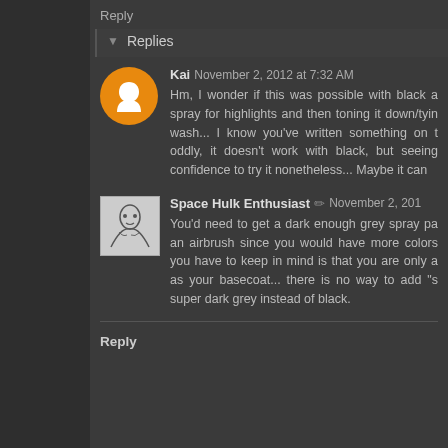Reply
Replies
Kai  November 2, 2012 at 7:32 AM
Hm, I wonder if this was possible with black a spray for highlights and then toning it down/tyin wash... I know you've written something on t oddly, it doesn't work with black, but seeing confidence to try it nonetheless... Maybe it can
Space Hulk Enthusiast  November 2, 201
You'd need to get a dark enough grey spray pa an airbrush since you would have more colors you have to keep in mind is that you are only a as your basecoat... there is no way to add "s super dark grey instead of black.
Reply